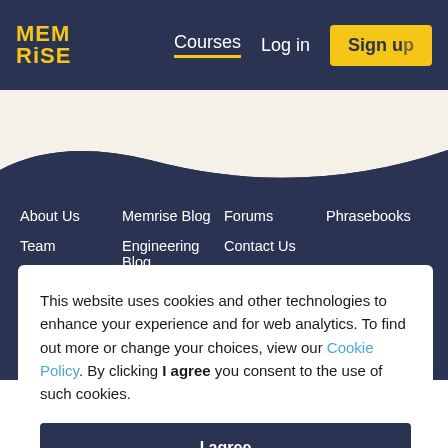MEM RISE — Courses | Log in | Sign up
About Us
Team
Jobs
Memrise Blog
Engineering Blog
Forums
Contact Us
FAQ & Help
Phrasebooks
This website uses cookies and other technologies to enhance your experience and for web analytics. To find out more or change your choices, view our Cookie Policy. By clicking I agree you consent to the use of such cookies.
I agree